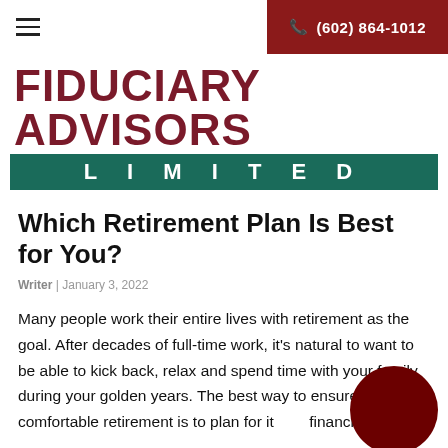☰  (602) 864-1012
FIDUCIARY ADVISORS LIMITED
Which Retirement Plan Is Best for You?
Writer | January 3, 2022
Many people work their entire lives with retirement as the goal. After decades of full-time work, it's natural to want to be able to kick back, relax and spend time with your family during your golden years. The best way to ensure a comfortable retirement is to plan for it financially.